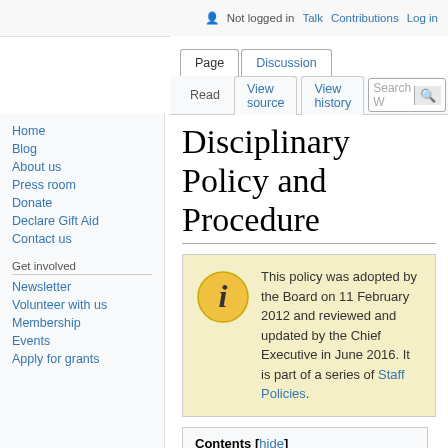Not logged in  Talk  Contributions  Log in
Page  Discussion  Read  View source  View history  Search W
Disciplinary Policy and Procedure
This policy was adopted by the Board on 11 February 2012 and reviewed and updated by the Chief Executive in June 2016. It is part of a series of Staff Policies.
Contents [hide]
1 Purpose and scope